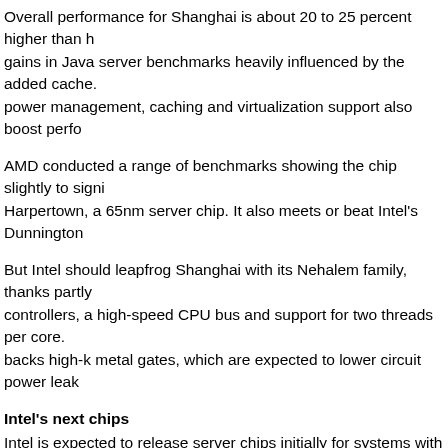Overall performance for Shanghai is about 20 to 25 percent higher than gains in Java server benchmarks heavily influenced by the added cache. power management, caching and virtualization support also boost perfo
AMD conducted a range of benchmarks showing the chip slightly to sign Harpertown, a 65nm server chip. It also meets or beat Intel's Dunnington
But Intel should leapfrog Shanghai with its Nehalem family, thanks partly controllers, a high-speed CPU bus and support for two threads per core. backs high-k metal gates, which are expected to lower circuit power leak
Intel's next chips
Intel is expected to release server chips initially for systems with one soc with two sockets early in 2009. Chips for high-end systems supporting fo next year, but some will have up to eight cores.
AMD will counterattack in late 2009 with Istanbul, a native six-core desig a chip using two Istanbul dice in a multichip module debuting in 2010.
Unlike Shanghai, which fits into existing Barcelona systems, Istanbul ano chipsets. AMD will launch its own server chipset in 2009 for its Fiorano p